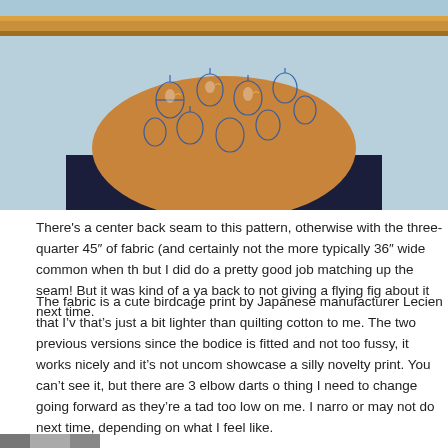[Figure (photo): A tote bag with a birdcage-patterned fabric top (orange/brown with blue birdcage print) and a navy blue bottom, hanging against a light blue wall with a wooden rail/shelf behind it.]
There's a center back seam to this pattern, otherwise with the three-quarter 45" of fabric (and certainly not the more typically 36" wide common when th but I did do a pretty good job matching up the seam! But it was kind of a ya back to not giving a flying fig about it next time.
The fabric is a cute birdcage print by Japanese manufacturer Lecien that I'v that's just a bit lighter than quilting cotton to me. The two previous versions since the bodice is fitted and not too fussy, it works nicely and it's not uncom showcase a silly novelty print. You can't see it, but there are 3 elbow darts o thing I need to change going forward as they're a tad too low on me. I narro or may not do next time, depending on what I feel like.